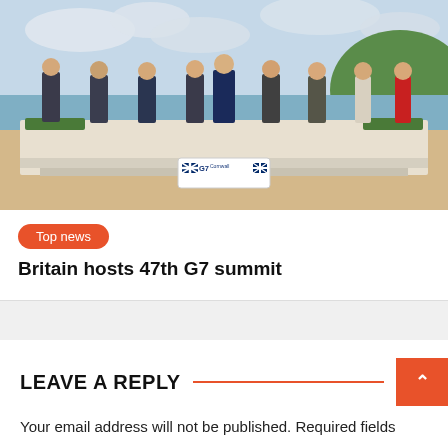[Figure (photo): Group photo of G7 leaders standing on steps at a seaside venue with sandy beach and green headland in background. A G7 Cornwall banner is visible in the foreground.]
Top news
Britain hosts 47th G7 summit
LEAVE A REPLY
Your email address will not be published. Required fields